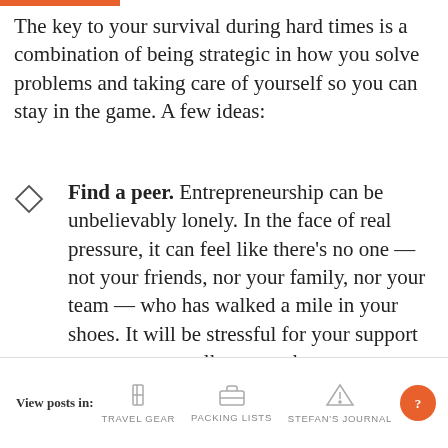The key to your survival during hard times is a combination of being strategic in how you solve problems and taking care of yourself so you can stay in the game. A few ideas:
Find a peer. Entrepreneurship can be unbelievably lonely. In the face of real pressure, it can feel like there's no one — not your friends, nor your family, nor your team — who has walked a mile in your shoes. It will be stressful for your support group to even talk to you about your challenge. My suggestion is
View posts in: TRAVEL GEAR  PACKING LISTS  STEFAN'S JOURNAL